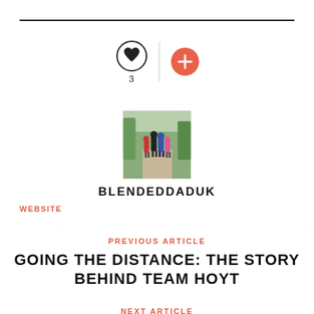[Figure (other): Heart icon circle with count 3 and orange plus button]
[Figure (photo): Family of four walking away on a path in a park, two adults and two children]
BLENDEDDADUK
WEBSITE
PREVIOUS ARTICLE
GOING THE DISTANCE: THE STORY BEHIND TEAM HOYT
NEXT ARTICLE